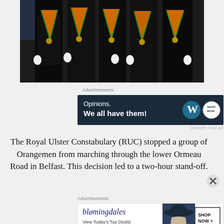[Figure (photo): Group of Orangemen in black suits wearing orange sashes/collarettes with medals, white gloves, marching in a parade]
Advertisements
[Figure (screenshot): Advertisement banner: 'Opinions. We all have them!' with WordPress logo on dark blue background]
REPORT THIS AD
The Royal Ulster Constabulary (RUC) stopped a group of Orangemen from marching through the lower Ormeau Road in Belfast. This decision led to a two-hour stand-off.
Advertisements
[Figure (screenshot): Advertisement banner for Bloomingdale's: 'View Today's Top Deals!' with woman in hat and SHOP NOW > button]